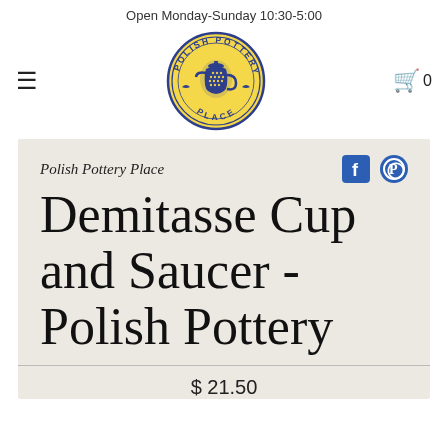Open Monday-Sunday 10:30-5:00
[Figure (logo): Polish Pottery Place circular logo with blue text on yellow background, featuring a decorative pottery pitcher in center]
Polish Pottery Place
Demitasse Cup and Saucer - Polish Pottery
$ 21.50